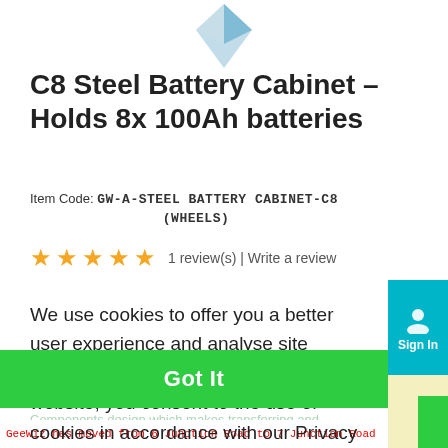[Figure (logo): Partial GeeWiz logo — blue geometric diamond/arrow shape at top center]
C8 Steel Battery Cabinet – Holds 8x 100Ah batteries
Item Code: GW-A-STEEL BATTERY CABINET-C8 (WHEELS)
★★★★★ 1 review(s) | Write a review
We use cookies to offer you a better user experience and analyse site traffic. By continuing to use this website, you consent to the use of cookies in accordance with our Privacy Policy Learn More
Got It
Light steel stuff, firm and flexible
Components design which makes transferring and...
GeeWiz has moved from 6 Junction Road to 7 Junction Road